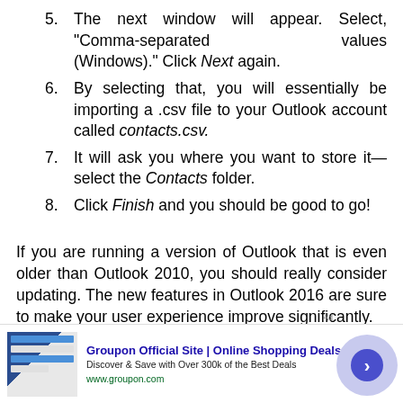5. The next window will appear. Select, “Comma-separated values (Windows).” Click Next again.
6. By selecting that, you will essentially be importing a .csv file to your Outlook account called contacts.csv.
7. It will ask you where you want to store it—select the Contacts folder.
8. Click Finish and you should be good to go!
If you are running a version of Outlook that is even older than Outlook 2010, you should really consider updating. The new features in Outlook 2016 are sure to make your user experience improve significantly.
[Figure (other): Advertisement banner for Groupon Official Site | Online Shopping Deals. Shows Groupon logo, thumbnail images, text 'Discover & Save with Over 300k of the Best Deals', URL www.groupon.com, close button, and forward arrow circle.]